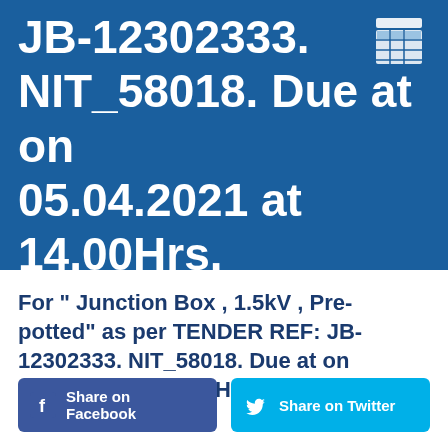JB-12302333. NIT_58018. Due at on 05.04.2021 at 14.00Hrs.
For " Junction Box , 1.5kV , Pre-potted" as per TENDER REF: JB-12302333. NIT_58018. Due at on 05.04.2021 at 14.00Hrs.
[Figure (other): Share on Facebook button]
[Figure (other): Share on Twitter button]